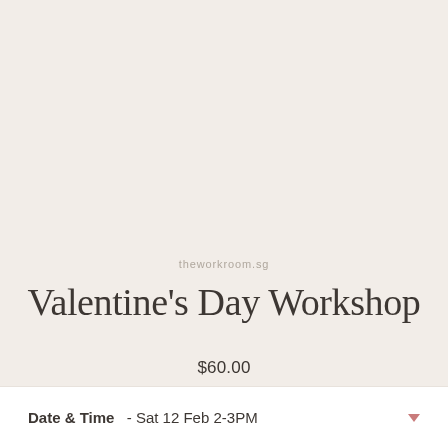theworkroom.sg
Valentine's Day Workshop
$60.00
Shipping calculated at checkout.
Date & Time  - Sat 12 Feb 2-3PM